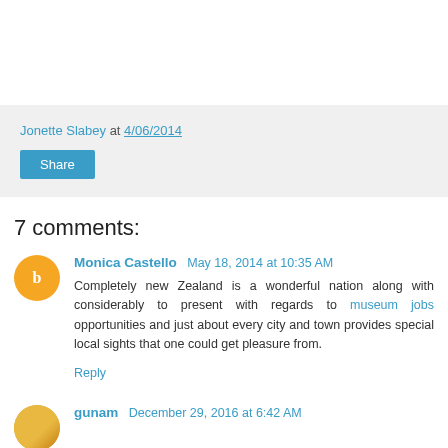Jonette Slabey at 4/06/2014
Share
7 comments:
Monica Castello May 18, 2014 at 10:35 AM
Completely new Zealand is a wonderful nation along with considerably to present with regards to museum jobs opportunities and just about every city and town provides special local sights that one could get pleasure from.
Reply
gunam December 29, 2016 at 6:42 AM